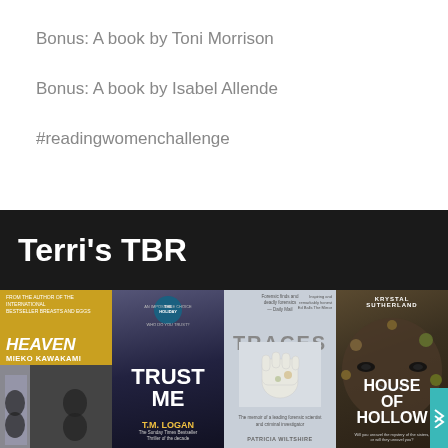Bonus: A book by Toni Morrison
Bonus: A book by Isabel Allende
#readingwomenchallenge
Terri's TBR
[Figure (photo): Four book covers in a row: Heaven by Mieko Kawakami, Trust Me by T.M. Logan, Traces by Patricia Wiltshire, and House of Hollow by Krystal Sutherland]